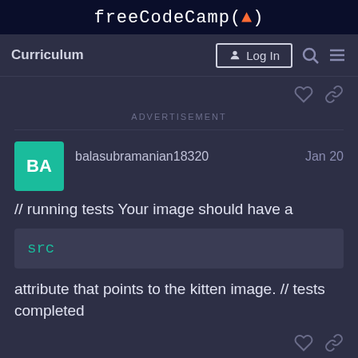freeCodeCamp(🔥)
Curriculum
Log In
ADVERTISEMENT
balasubramanian18320   Jan 20
// running tests Your image should have a
src
attribute that points to the kitten image. // tests completed